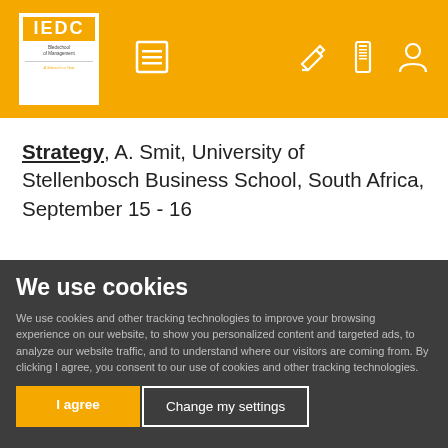IEDC Bledschool of Management navigation bar with logo and icons
Strategy, A. Smit, University of Stellenbosch Business School, South Africa, September 15 - 16
We use cookies
We use cookies and other tracking technologies to improve your browsing experience on our website, to show you personalized content and targeted ads, to analyze our website traffic, and to understand where our visitors are coming from. By clicking I agree, you consent to our use of cookies and other tracking technologies.
I agree | Change my settings